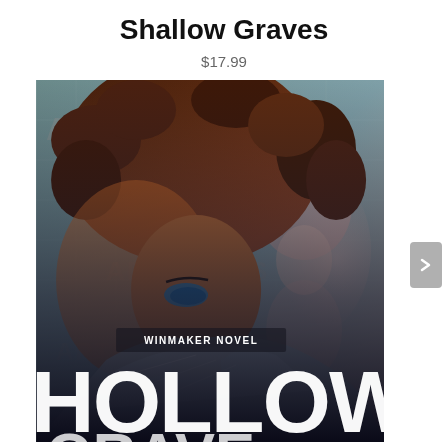Shallow Graves
$17.99
[Figure (photo): Book cover for 'Hollow Graves' (a Winmaker Novel). Shows a young Black woman with large curly hair and blue eye makeup, wearing a silver/metallic outfit, looking downward. Large white bold text 'HOLLOW' visible at the bottom. A ghostly mirrored figure in pink/red tones appears on the right. Watermark text visible in the background.]